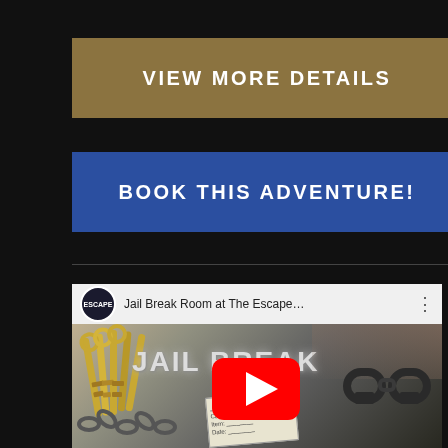VIEW MORE DETAILS
BOOK THIS ADVENTURE!
[Figure (screenshot): YouTube video embed showing 'Jail Break Room at The Escape...' with thumbnail of jail break themed imagery including keys, handcuffs, chains, evidence card, and decorative JAIL BREAK text with YouTube play button overlay]